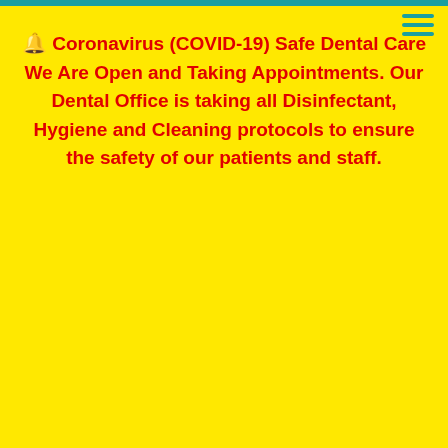🔔 Coronavirus (COVID-19) Safe Dental Care We Are Open and Taking Appointments. Our Dental Office is taking all Disinfectant, Hygiene and Cleaning protocols to ensure the safety of our patients and staff.
schedule an evaluation or appointment, then please call our office at (805)-975-1401.
[Figure (logo): Safe Dental Care logo with tooth icon and tagline 'Care For Your Smile']
SERVICES
GENERAL DENTISTRY
FAMILY DENTISTRY